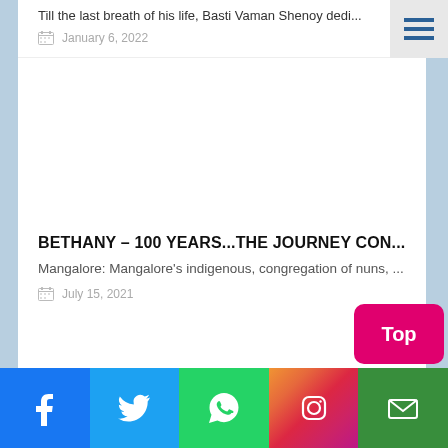Till the last breath of his life, Basti Vaman Shenoy dedi...
January 6, 2022
BETHANY – 100 YEARS...THE JOURNEY CON...
Mangalore: Mangalore's indigenous, congregation of nuns, ...
July 15, 2021
Facebook Twitter WhatsApp Instagram Email